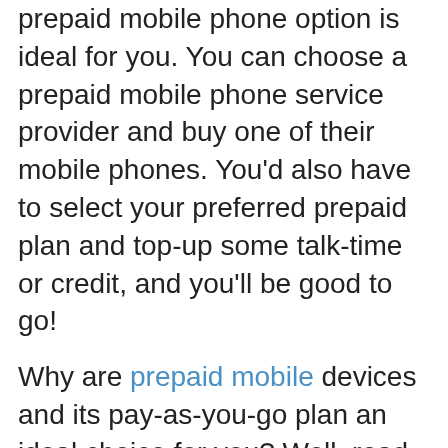prepaid mobile phone option is ideal for you. You can choose a prepaid mobile phone service provider and buy one of their mobile phones. You'd also have to select your preferred prepaid plan and top-up some talk-time or credit, and you'll be good to go!
Why are prepaid mobile devices and its pay-as-you-go plan an ideal choice for you? Well, read on to get insightful tips on why such mobile phones and their advance payment for service is good for you.
1. No Binding Contract or Monthly Charges
Prepaid mobile devices allow you to pay for the text messages you send and the talk-time you get to use. Your talk-time top-up gets determined by your